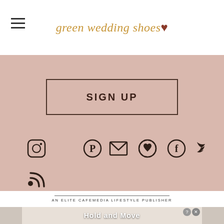green wedding shoes ♥
SIGN UP
[Figure (infographic): Row of social media icons: Instagram, Pinterest, Email, Favicon/heart, Facebook, Twitter; and RSS icon below]
AN ELITE CAFEMEDIA LIFESTYLE PUBLISHER
[Figure (screenshot): Advertisement banner with cartoon figures and text 'Hold and Move']